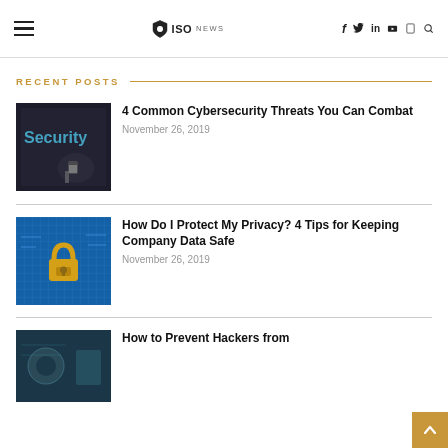ISOnews website header with hamburger menu, logo, and social icons (f, twitter, in, youtube, rss, search)
RECENT POSTS
[Figure (photo): Dark background with 'Security' text and a person with a laptop]
4 Common Cybersecurity Threats You Can Combat
November 26, 2019
[Figure (photo): Blue digital background with a gold padlock]
How Do I Protect My Privacy? 4 Tips for Keeping Company Data Safe
November 26, 2019
[Figure (photo): Dark teal background image for hacker article]
How to Prevent Hackers from